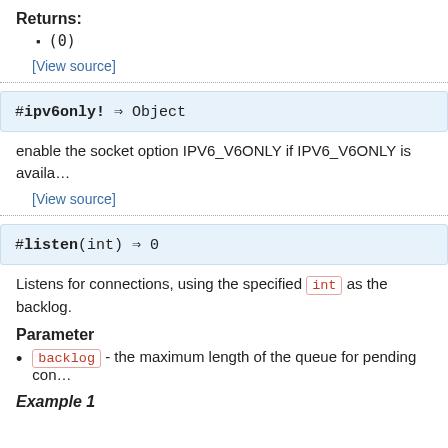Returns:
(0)
[View source]
#ipv6only! ⇒ Object
enable the socket option IPV6_V6ONLY if IPV6_V6ONLY is available
[View source]
#listen(int) ⇒ 0
Listens for connections, using the specified int as the backlog.
Parameter
backlog - the maximum length of the queue for pending connections
Example 1